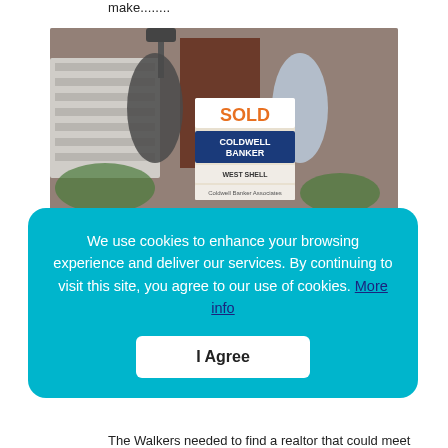make........
[Figure (photo): Family of four (mother, father, and two young children) posing in front of a home with a Coldwell Banker West Shell SOLD real estate sign.]
We use cookies to enhance your browsing experience and deliver our services. By continuing to visit this site, you agree to our use of cookies. More info
I Agree
The Walkers needed to find a realtor that could meet